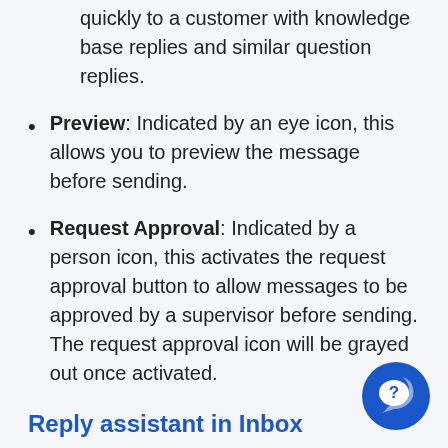quickly to a customer with knowledge base replies and similar question replies.
Preview: Indicated by an eye icon, this allows you to preview the message before sending.
Request Approval: Indicated by a person icon, this activates the request approval button to allow messages to be approved by a supervisor before sending. The request approval icon will be grayed out once activated.
Reply assistant in Inbox
The reply assistant allows an agent to respond using knowledge base replies and